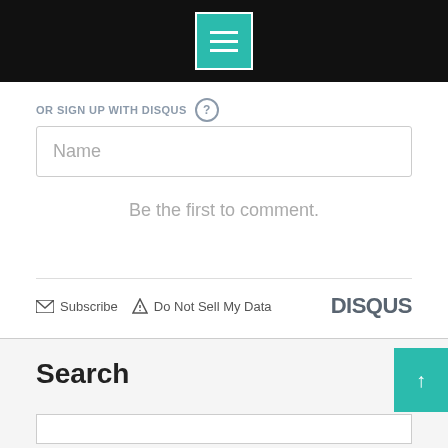[Figure (screenshot): Black top navigation bar with centered teal hamburger menu icon (three white horizontal lines)]
OR SIGN UP WITH DISQUS (?)
Name
Be the first to comment.
Subscribe  Do Not Sell My Data  DISQUS
Search